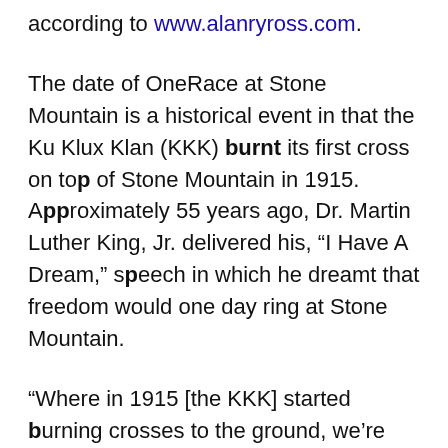according to www.alanryross.com.
The date of OneRace at Stone Mountain is a historical event in that the Ku Klux Klan (KKK) burnt its first cross on top of Stone Mountain in 1915. Approximately 55 years ago, Dr. Martin Luther King, Jr. delivered his, “I Have A Dream,” speech in which he dreamt that freedom would one day ring at Stone Mountain.
“Where in 1915 [the KKK] started burning crosses to the ground, we’re changing that now,” said Billy Humphrey, co-director of OneRace. “Reconciliation is not a matter of a moment but a matter of a movement. It takes time, intentionality and turning hearts toward one another. We are starting that today.”